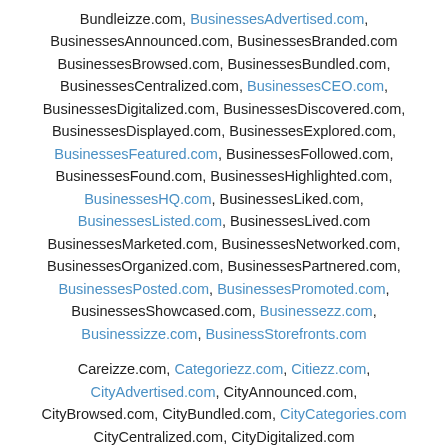Bundleizze.com, BusinessesAdvertised.com, BusinessesAnnounced.com, BusinessesBranded.com BusinessesBrowsed.com, BusinessesBundled.com, BusinessesCentralized.com, BusinessesCEO.com, BusinessesDigitalized.com, BusinessesDiscovered.com, BusinessesDisplayed.com, BusinessesExplored.com, BusinessesFeatured.com, BusinessesFollowed.com, BusinessesFound.com, BusinessesHighlighted.com, BusinessesHQ.com, BusinessesLiked.com, BusinessesListed.com, BusinessesLived.com BusinessesMarketed.com, BusinessesNetworked.com, BusinessesOrganized.com, BusinessesPartnered.com, BusinessesPosted.com, BusinessesPromoted.com, BusinessesShowcased.com, Businessezz.com, Businessizze.com, BusinessStorefronts.com
Careizze.com, Categoriezz.com, Citiezz.com, CityAdvertised.com, CityAnnounced.com, CityBrowsed.com, CityBundled.com, CityCategories.com CityCentralized.com, CityDigitalized.com